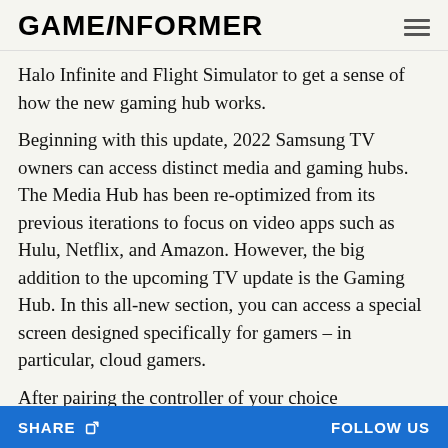GAMEINFORMER
Halo Infinite and Flight Simulator to get a sense of how the new gaming hub works.
Beginning with this update, 2022 Samsung TV owners can access distinct media and gaming hubs. The Media Hub has been re-optimized from its previous iterations to focus on video apps such as Hulu, Netflix, and Amazon. However, the big addition to the upcoming TV update is the Gaming Hub. In this all-new section, you can access a special screen designed specifically for gamers – in particular, cloud gamers.
After pairing the controller of your choice (PlayStation, Xbox, and more) with your Samsung TV, you'll...
SHARE   FOLLOW US